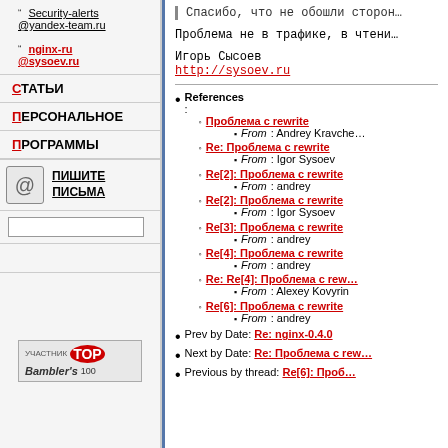Security-alerts @yandex-team.ru
nginx-ru @sysoev.ru
СТАТЬИ
ПЕРСОНАЛЬНОЕ
ПРОГРАММЫ
ПИШИТЕ ПИСЬМА
Спасибо, что не обошли сторон…
Проблема не в трафике, в чтени…
Игорь Сысоев
http://sysoev.ru
References:
Проблема с rewrite — From: Andrey Kravche…
Re: Проблема с rewrite — From: Igor Sysoev
Re[2]: Проблема с rewrite — From: andrey
Re[2]: Проблема с rewrite — From: Igor Sysoev
Re[3]: Проблема с rewrite — From: andrey
Re[4]: Проблема с rewrite — From: andrey
Re: Re[4]: Проблема с rewrite — From: Alexey Kovyrin
Re[6]: Проблема с rewrite — From: andrey
Prev by Date: Re: nginx-0.4.0
Next by Date: Re: Проблема с rewrite…
Previous by thread: Re[6]: Проблем…